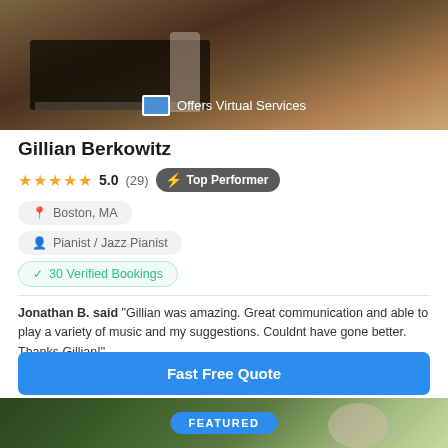[Figure (photo): Photo of a pianist standing in front of a grand piano with 'Offers Virtual Services' badge overlay]
Gillian Berkowitz
★★★★★ 5.0 (29) 🔆 Top Performer
📍 Boston, MA
👤 Pianist / Jazz Pianist
✓ 30 Verified Bookings
Jonathan B. said "Gillian was amazing. Great communication and able to play a variety of music and my suggestions. Couldnt have gone better. Thanks Gillian!"
Fast Free Quote
[Figure (photo): Partially visible featured photo at bottom of page with FEATURED badge]